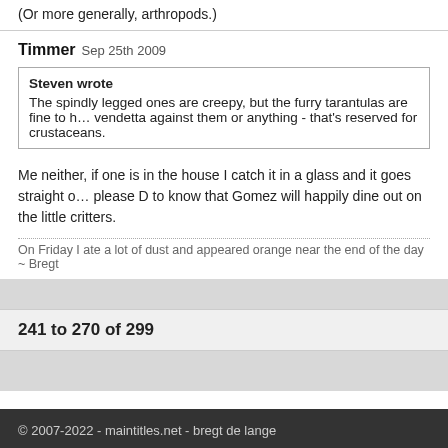(Or more generally, arthropods.)
Timmer Sep 25th 2009
Steven wrote
The spindly legged ones are creepy, but the furry tarantulas are fine to h... vendetta against them or anything - that's reserved for crustaceans.
Me neither, if one is in the house I catch it in a glass and it goes straight o... please D to know that Gomez will happily dine out on the little critters.
On Friday I ate a lot of dust and appeared orange near the end of the day ~ Bregt
241 to 270 of 299
© 2007-2022 - maintitles.net - bregt de lange